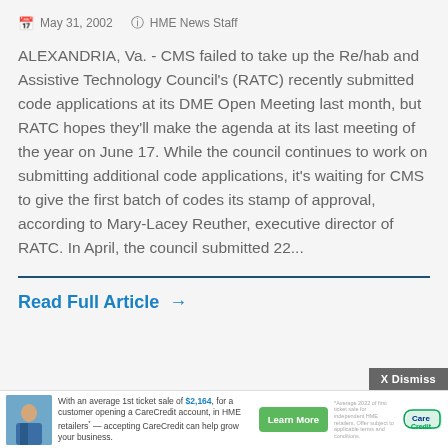May 31, 2002   HME News Staff
ALEXANDRIA, Va. - CMS failed to take up the Re/hab and Assistive Technology Council's (RATC) recently submitted code applications at its DME Open Meeting last month, but RATC hopes they'll make the agenda at its last meeting of the year on June 17. While the council continues to work on submitting additional code applications, it's waiting for CMS to give the first batch of codes its stamp of approval, according to Mary-Lacey Reuther, executive director of RATC. In April, the council submitted 22...
Read Full Article →
[Figure (infographic): CareCredit advertisement banner: With an average 1st ticket sale of $2,164, for a customer opening a CareCredit account, in HME retailers — accepting CareCredit can help grow your business. Learn More button. CareCredit logo.]